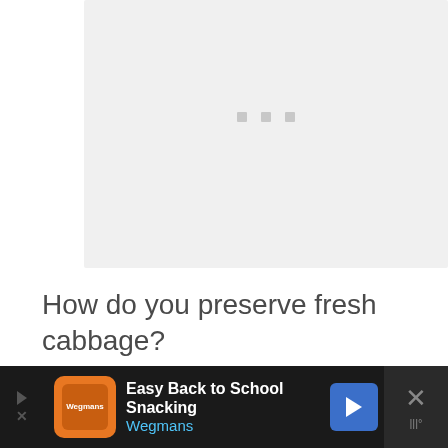[Figure (other): Loading placeholder box with three small gray squares (loading indicator dots) centered in a light gray rectangle]
How do you preserve fresh cabbage?
[Figure (other): Advertisement bar at bottom: Wegmans 'Easy Back to School Snacking' ad with orange logo, blue navigation arrow icon, and close button with X]